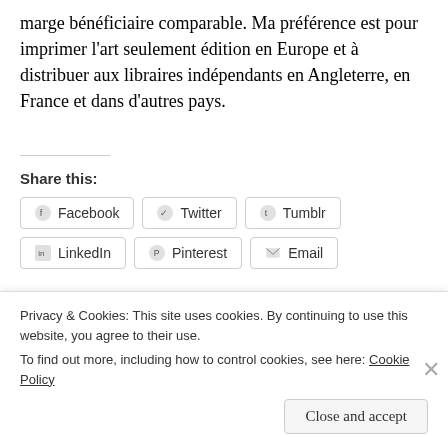marge bénéficiaire comparable. Ma préférence est pour imprimer l'art seulement édition en Europe et à distribuer aux libraires indépendants en Angleterre, en France et dans d'autres pays.
Share this:
Facebook
Twitter
Tumblr
LinkedIn
Pinterest
Email
Like
7 bloggers like this.
Privacy & Cookies: This site uses cookies. By continuing to use this website, you agree to their use. To find out more, including how to control cookies, see here: Cookie Policy
Close and accept